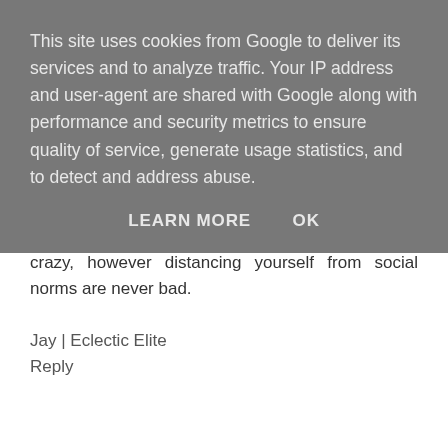This site uses cookies from Google to deliver its services and to analyze traffic. Your IP address and user-agent are shared with Google along with performance and security metrics to ensure quality of service, generate usage statistics, and to detect and address abuse.
LEARN MORE   OK
crazy, however distancing yourself from social norms are never bad.
Jay | Eclectic Elite
Reply
day to day MOMents  7 August 2016 at 11:14
Unique, as we all are meant to be :)